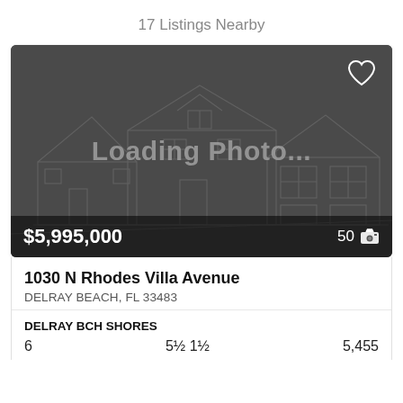17 Listings Nearby
[Figure (screenshot): Real estate listing card showing a house with 'Loading Photo...' placeholder, price $5,995,000, and 50 photos icon]
1030 N Rhodes Villa Avenue
DELRAY BEACH, FL 33483
DELRAY BCH SHORES
6   5½ 1½   5,455